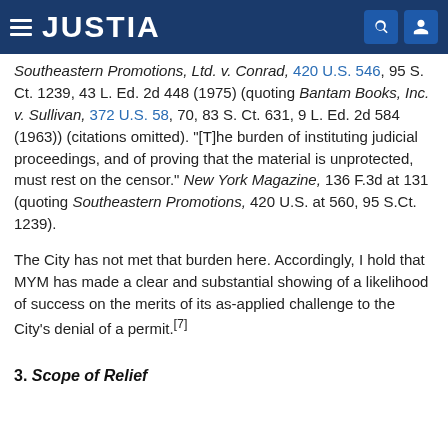JUSTIA
Southeastern Promotions, Ltd. v. Conrad, 420 U.S. 546, 95 S. Ct. 1239, 43 L. Ed. 2d 448 (1975) (quoting Bantam Books, Inc. v. Sullivan, 372 U.S. 58, 70, 83 S. Ct. 631, 9 L. Ed. 2d 584 (1963)) (citations omitted). "[T]he burden of instituting judicial proceedings, and of proving that the material is unprotected, must rest on the censor." New York Magazine, 136 F.3d at 131 (quoting Southeastern Promotions, 420 U.S. at 560, 95 S.Ct. 1239).
The City has not met that burden here. Accordingly, I hold that MYM has made a clear and substantial showing of a likelihood of success on the merits of its as-applied challenge to the City's denial of a permit.[7]
3. Scope of Relief